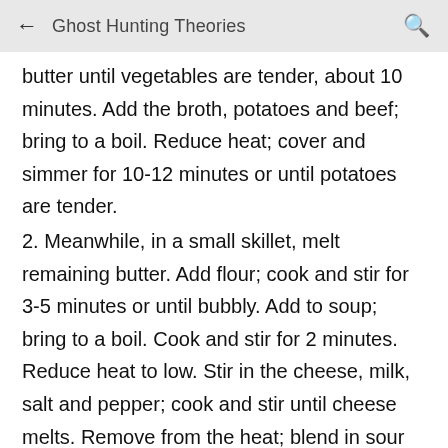Ghost Hunting Theories
butter until vegetables are tender, about 10 minutes. Add the broth, potatoes and beef; bring to a boil. Reduce heat; cover and simmer for 10-12 minutes or until potatoes are tender.
2. Meanwhile, in a small skillet, melt remaining butter. Add flour; cook and stir for 3-5 minutes or until bubbly. Add to soup; bring to a boil. Cook and stir for 2 minutes. Reduce heat to low. Stir in the cheese, milk, salt and pepper; cook and stir until cheese melts. Remove from the heat; blend in sour cream. Yield: 8 servings (2-1/4 quarts).